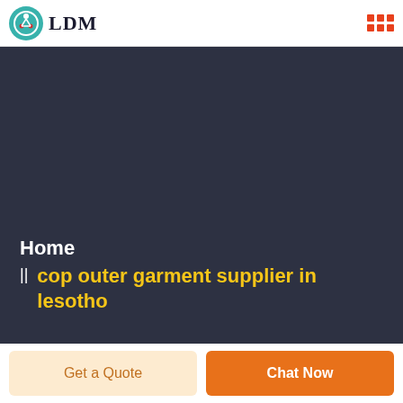LDM
Home
cop outer garment supplier in lesotho
Get a Quote
Chat Now